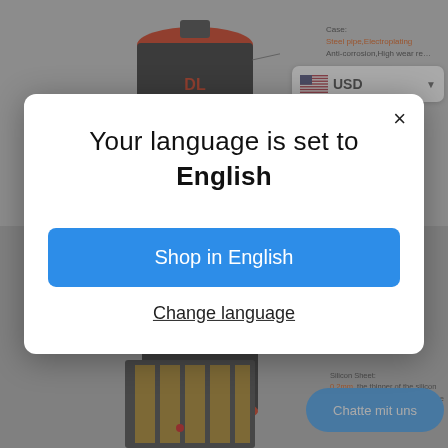[Figure (screenshot): Background of an e-commerce product page showing brushless motor with annotations and USD currency selector]
[Figure (screenshot): Language selection modal dialog with 'Your language is set to English' message, 'Shop in English' blue button, and 'Change language' underlined link]
Your language is set to English
Shop in English
Change language
Chatte mit uns